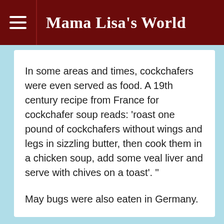Mama Lisa's World
In some areas and times, cockchafers were even served as food. A 19th century recipe from France for cockchafer soup reads: 'roast one pound of cockchafers without wings and legs in sizzling butter, then cook them in a chicken soup, add some veal liver and serve with chives on a toast'. "
May bugs were also eaten in Germany.
If you're curious about how Maybug Soup was made, you can read about it on Mama Lisa's Blog.